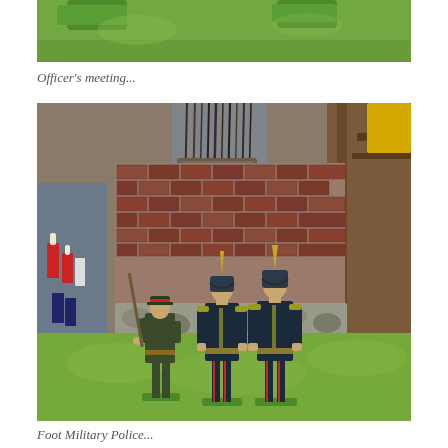[Figure (photo): Top portion of a photo showing green grass/ground with some green plastic or painted elements visible at the top]
Officer's meeting...
[Figure (photo): Photo of three military toy soldier figurines in dark uniforms with spiked helmets (pickelhaube), standing on green turf base in front of a brick wall diorama backdrop. Paintbrushes and hobby supplies visible in background. One figure on left holds a rifle, two figures on right stand at attention.]
Foot Military Police...